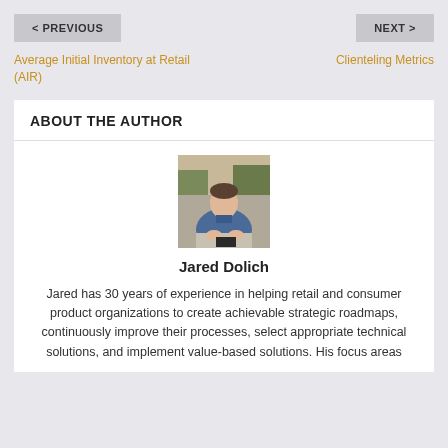< PREVIOUS
NEXT >
Average Initial Inventory at Retail (AIR)
Clienteling Metrics
ABOUT THE AUTHOR
[Figure (photo): Portrait photo of Jared Dolich, a man in a blue shirt seated outdoors]
Jared Dolich
Jared has 30 years of experience in helping retail and consumer product organizations to create achievable strategic roadmaps, continuously improve their processes, select appropriate technical solutions, and implement value-based solutions. His focus areas